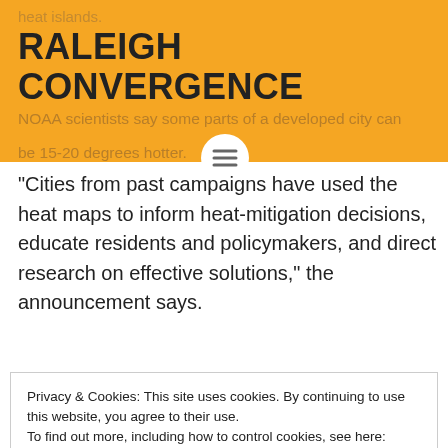heat islands.
RALEIGH CONVERGENCE
NOAA scientists say some parts of a developed city can be 15-20 degrees hotter.
“Cities from past campaigns have used the heat maps to inform heat-mitigation decisions, educate residents and policymakers, and direct research on effective solutions,” the announcement says.
Privacy & Cookies: This site uses cookies. By continuing to use this website, you agree to their use.
To find out more, including how to control cookies, see here: Cookie Policy
CLOSE AND ACCEPT
a developed city are therefore far better than a ster